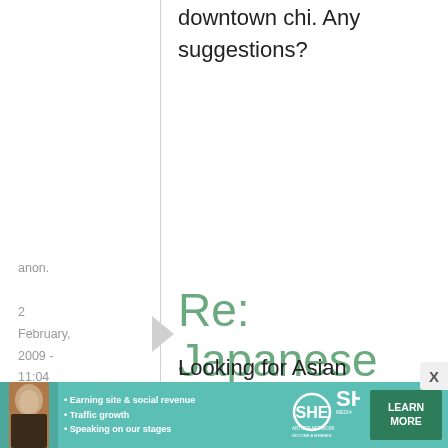downtown chi. Any suggestions?
anon.
2 February, 2009 - 11:04
permalink
Re: Japanese grocery stores in the United States and ...
Looking for Asian markets in northwest
[Figure (infographic): SHE Partner Network advertisement banner with woman photo, bullet points about earning site & social revenue, traffic growth, speaking on stages, SHE logo, and LEARN MORE button]